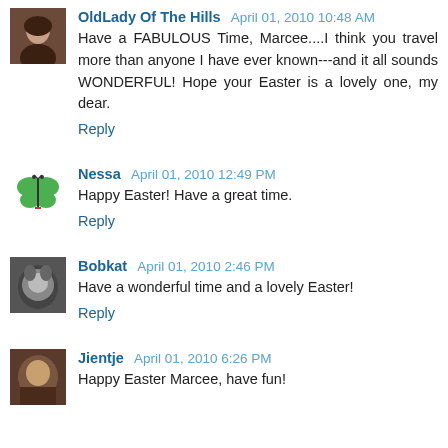OldLady Of The Hills  April 01, 2010 10:48 AM
Have a FABULOUS Time, Marcee....I think you travel more than anyone I have ever known---and it all sounds WONDERFUL! Hope your Easter is a lovely one, my dear.
Reply
Nessa  April 01, 2010 12:49 PM
Happy Easter! Have a great time.
Reply
Bobkat  April 01, 2010 2:46 PM
Have a wonderful time and a lovely Easter!
Reply
Jientje  April 01, 2010 6:26 PM
Happy Easter Marcee, have fun!